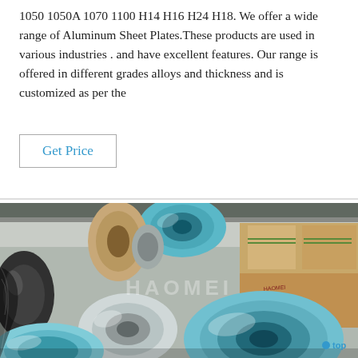1050 1050A 1070 1100 H14 H16 H24 H18. We offer a wide range of Aluminum Sheet Plates.These products are used in various industries . and have excellent features. Our range is offered in different grades alloys and thickness and is customized as per the
Get Price
[Figure (photo): Industrial warehouse photo showing large rolls/coils of aluminum sheet plates, some wrapped in blue protective film and some in kraft paper wrapping. Cardboard boxes visible in background. Watermark text 'HAOMEI' overlaid on image. 'top' badge in bottom right corner.]